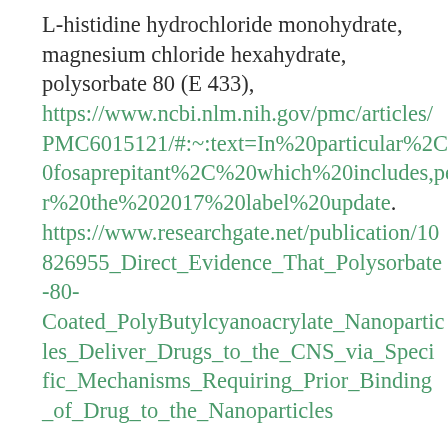L-histidine hydrochloride monohydrate, magnesium chloride hexahydrate, polysorbate 80 (E 433), https://www.ncbi.nlm.nih.gov/pmc/articles/PMC6015121/#:~:text=In%20particular%2C%20fosaprepitant%2C%20which%20includes,per%20the%202017%20label%20update. https://www.researchgate.net/publication/10826955_Direct_Evidence_That_Polysorbate-80-Coated_PolyButylcyanoacrylate_Nanoparticles_Deliver_Drugs_to_the_CNS_via_Specific_Mechanisms_Requiring_Prior_Binding_of_Drug_to_the_Nanoparticles
ethanol,
sucrose,